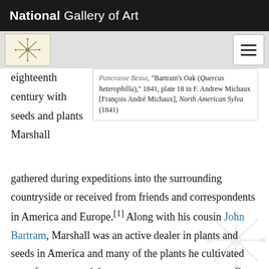National Gallery of Art
Pancrasse Bessa, "Bartram's Oak (Quercus heterophilla)," 1841, plate 18 in F. Andrew Michaux [François André Michaux], North American Sylva (1841)
eighteenth century with seeds and plants Marshall gathered during expeditions into the surrounding countryside or received from friends and correspondents in America and Europe.[1] Along with his cousin John Bartram, Marshall was an active dealer in plants and seeds in America and many of the plants he cultivated were for commercial export to overseas customers. One of Marshall's most dedicated correspondents, the English Quaker physician and plant collector John Fothergill